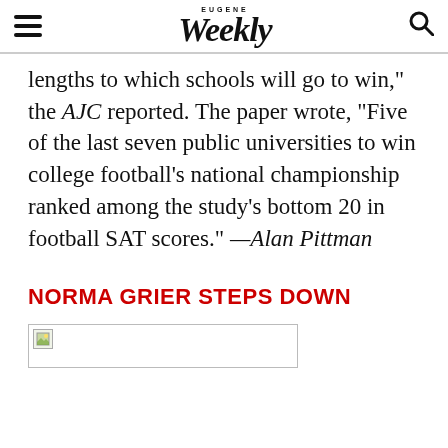EUGENE Weekly
lengths to which schools will go to win," the AJC reported. The paper wrote, "Five of the last seven public universities to win college football's national championship ranked among the study's bottom 20 in football SAT scores." —Alan Pittman
NORMA GRIER STEPS DOWN
[Figure (photo): Image placeholder for article photo]